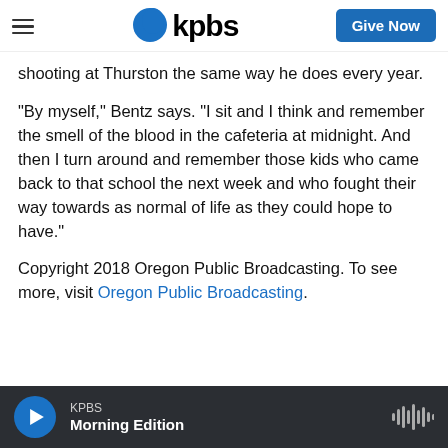KPBS — Give Now
shooting at Thurston the same way he does every year.
"By myself," Bentz says. "I sit and I think and remember the smell of the blood in the cafeteria at midnight. And then I turn around and remember those kids who came back to that school the next week and who fought their way towards as normal of life as they could hope to have."
Copyright 2018 Oregon Public Broadcasting. To see more, visit Oregon Public Broadcasting.
KPBS Morning Edition